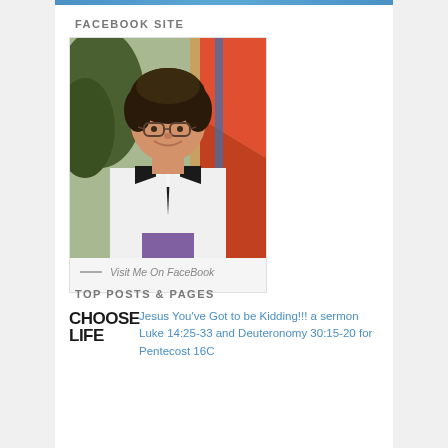FACEBOOK SITE
[Figure (photo): Portrait photo of a woman wearing glasses and clergy collar with white jacket, smiling, in front of stained glass window background. Below the photo: '— Visit Me On FaceBook']
TOP POSTS & PAGES
[Figure (logo): CHOOSE LIFE logo in bold black text]
Jesus You've Got to be Kidding!!! a sermon Luke 14:25-33 and Deuteronomy 30:15-20 for Pentecost 16C